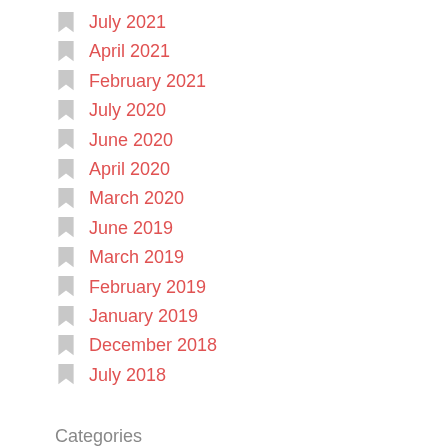July 2021
April 2021
February 2021
July 2020
June 2020
April 2020
March 2020
June 2019
March 2019
February 2019
January 2019
December 2018
July 2018
Categories
climate change
Glam Camping